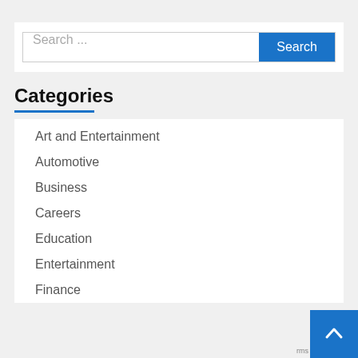[Figure (screenshot): Search bar with text input placeholder 'Search ...' and a blue 'Search' button]
Categories
Art and Entertainment
Automotive
Business
Careers
Education
Entertainment
Finance